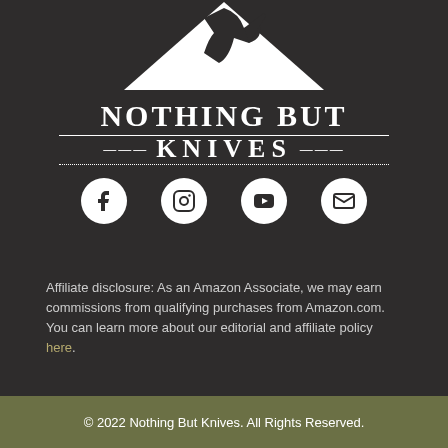[Figure (logo): Nothing But Knives logo with triangle/hand graphic, bold serif text reading NOTHING BUT KNIVES with horizontal rules]
[Figure (infographic): Social media icons: Facebook, Instagram, YouTube, Email in white circles on dark background]
Affiliate disclosure: As an Amazon Associate, we may earn commissions from qualifying purchases from Amazon.com. You can learn more about our editorial and affiliate policy here.
© 2022 Nothing But Knives. All Rights Reserved.